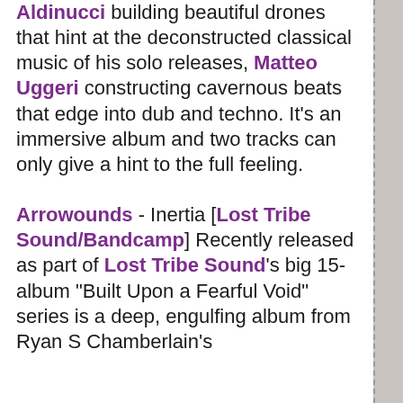Aldinucci building beautiful drones that hint at the deconstructed classical music of his solo releases, Matteo Uggeri constructing cavernous beats that edge into dub and techno. It's an immersive album and two tracks can only give a hint to the full feeling.
Arrowounds - Inertia [Lost Tribe Sound/Bandcamp] Recently released as part of Lost Tribe Sound's big 15-album "Built Upon a Fearful Void" series is a deep, engulfing album from Ryan S Chamberlain's